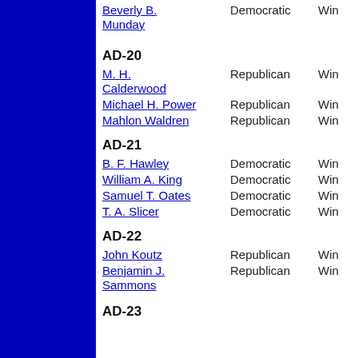Beverly B. Munday | Democratic | Win
AD-20
M. H. Calderwood | Republican | Win
Michael H. Power | Republican | Win
Mahlon Waldren | Republican | Win
AD-21
B. F. Hawley | Democratic | Win
William A. King | Democratic | Win
Samuel T. Oates | Democratic | Win
T. A. Slicer | Democratic | Win
AD-22
John Koutz | Republican | Win
Benjamin J. Sammons | Republican | Win
AD-23